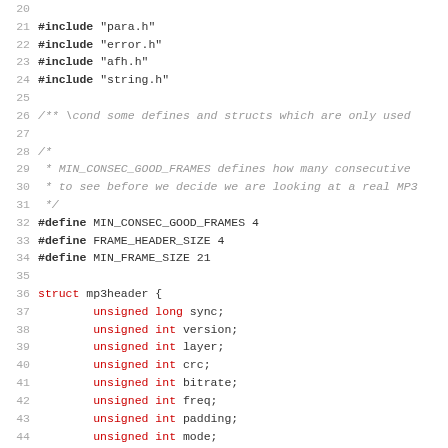Source code listing showing C header includes, preprocessor defines, and struct definition for mp3header, lines 20-51
[Figure (screenshot): C source code snippet with syntax highlighting showing #include directives, comments, #define macros for MIN_CONSEC_GOOD_FRAMES, FRAME_HEADER_SIZE, MIN_FRAME_SIZE, and a struct mp3header definition with unsigned int/long fields.]